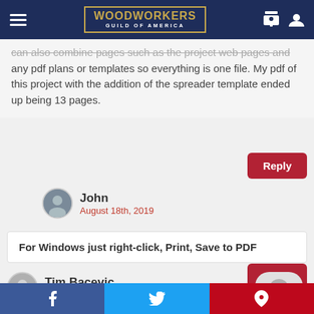WOODWORKERS GUILD OF AMERICA
can also combine pages such as the project web pages and any pdf plans or templates so everything is one file. My pdf of this project with the addition of the spreader template ended up being 13 pages.
John
August 18th, 2019
For Windows just right-click, Print, Save to PDF
Tim Bacevic
January 24th, 2016